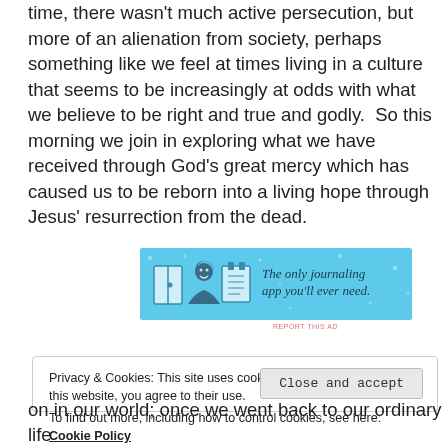time, there wasn't much active persecution, but more of an alienation from society, perhaps something like we feel at times living in a culture that seems to be increasingly at odds with what we believe to be right and true and godly. So this morning we join in exploring what we have received through God's great mercy which has caused us to be reborn into a living hope through Jesus' resurrection from the dead.
[Figure (infographic): Advertisement banner with light blue background showing three icons (book, person, notepad) and text 'The only journaling app you'll ever need.']
Privacy & Cookies: This site uses cookies. By continuing to use this website, you agree to their use.
To find out more, including how to control cookies, see here: Cookie Policy
Close and accept
on in our world; once we went back to our ordinary life